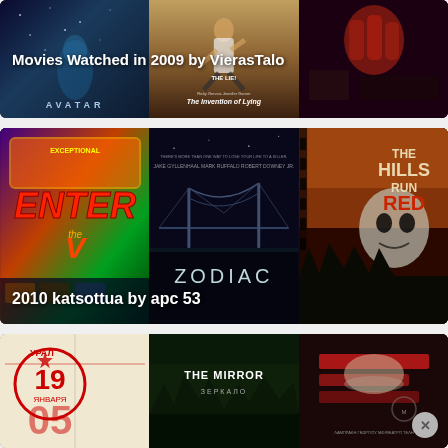[Figure (illustration): Movie list collage row 1: Three movie poster panels side by side - Avatar (blue/dark space theme), The Invention of Lying (person jumping), and a red/dark horror image. White text overlay reads 'Movies Watched in 2009 by VierasTalo'.]
[Figure (illustration): Movie list collage row 2: Three movie poster panels - Enter the Void (colorful neon), Zodiac (dark thriller), and The Hills Run Red (horror). White text overlay reads '2010 katsottua by apc 53'.]
[Figure (illustration): Movie list collage row 3 (partially visible): Three poster panels - Soviet-era Ural film poster, The Mirror / Зеркало (dark forest), and a red/dark poster. Partially cut off at bottom.]